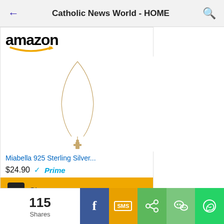Catholic News World - HOME
[Figure (screenshot): Amazon advertisement for Miabella 925 Sterling Silver necklace, priced $24.90 with Prime, with Shop now button]
Great Wooden Rosary - Perfect GIFT or for Yourself!
[Figure (screenshot): Amazon advertisement for a wooden rosary product, partially visible]
115 Shares | Facebook | SMS | Share | WeChat | WhatsApp